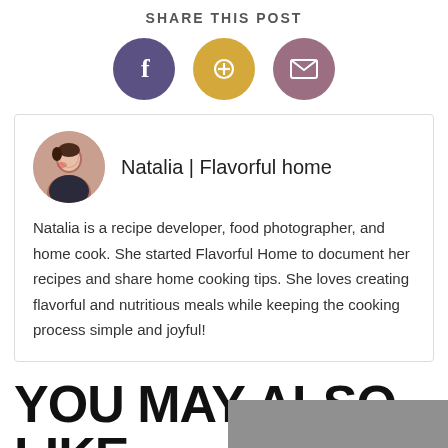SHARE THIS POST
[Figure (infographic): Three social share icon circles: Facebook (purple), Pinterest (gold), Email (mauve/pink)]
Natalia | Flavorful home
Natalia is a recipe developer, food photographer, and home cook. She started Flavorful Home to document her recipes and share home cooking tips. She loves creating flavorful and nutritious meals while keeping the cooking process simple and joyful!
YOU MAY ALSO LIKE
[Figure (photo): Partial photo visible at bottom right of page]